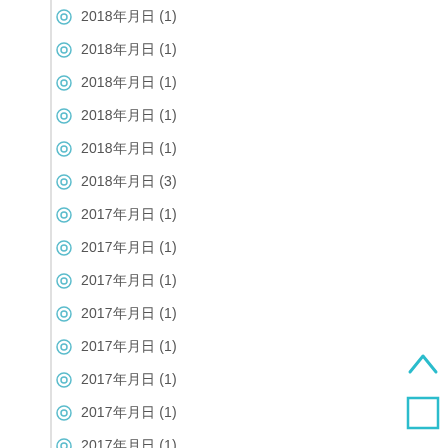2018年月日 (1)
2018年月日 (1)
2018年月日 (1)
2018年月日 (1)
2018年月日 (1)
2018年月日 (3)
2017年月日 (1)
2017年月日 (1)
2017年月日 (1)
2017年月日 (1)
2017年月日 (1)
2017年月日 (1)
2017年月日 (1)
2017年月日 (1)
2017年月日 (3)
2017年月日 (1)